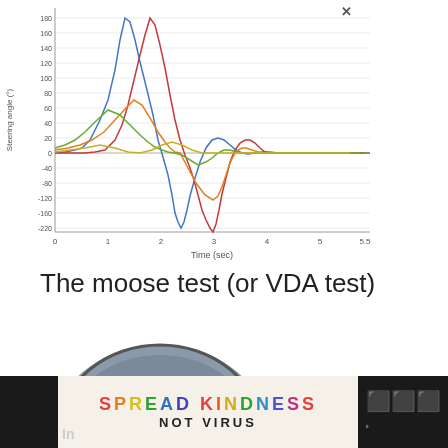[Figure (continuous-plot): Multi-line time-series plot showing steering angle (°) vs Time (sec) from 0 to ~5.5 seconds. Multiple oscillating curves in blue, red, orange, green, and yellow-green colors showing damped oscillations in steering angle ranging from approximately -220 to +180 degrees.]
The moose test (or VDA test)
[Figure (photo): Cutaway/cross-section photo of an automotive transmission or gearbox, showing internal components including gears, clutch packs, and mechanical parts in silver, gold, and green colors.]
[Figure (other): Advertisement banner: 'SPREAD KINDNESS NOT VIRUS' with colorful letters on a cream background, with dark side panels and a close button.]